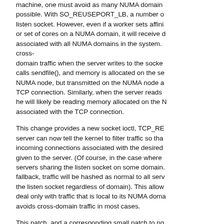machine, one must avoid as many NUMA domain possible. With SO_REUSEPORT_LB, a number o listen socket. However, even if a worker sets affini or set of cores on a NUMA domain, it will receive d associated with all NUMA domains in the system. cross-domain traffic when the server writes to the socket calls sendfile(), and memory is allocated on the se NUMA node, but transmitted on the NUMA node a TCP connection. Similarly, when the server reads he will likely be reading memory allocated on the N associated with the TCP connection.
This change provides a new socket ioctl, TCP_RE server can now tell the kernel to filter traffic so tha incoming connections associated with the desired given to the server. (Of course, in the case where servers sharing the listen socket on some domain. fallback, traffic will be hashed as normal to all serv the listen socket regardless of domain). This allow deal only with traffic that is local to its NUMA doma avoids cross-domain traffic in most cases.
This patch, and a corresponding small patch to ng TCP_REUSPORT_LB_NUMA allows us to serve 1 https media content from dual-socket Xeons with only 13% (as measured by pcm.x) cross domain traffic on the m
Reviewed by: